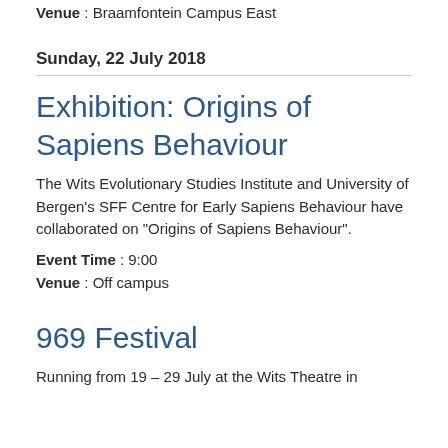Venue : Braamfontein Campus East
Sunday, 22 July 2018
Exhibition: Origins of Sapiens Behaviour
The Wits Evolutionary Studies Institute and University of Bergen's SFF Centre for Early Sapiens Behaviour have collaborated on "Origins of Sapiens Behaviour".
Event Time : 9:00
Venue : Off campus
969 Festival
Running from 19 – 29 July at the Wits Theatre in